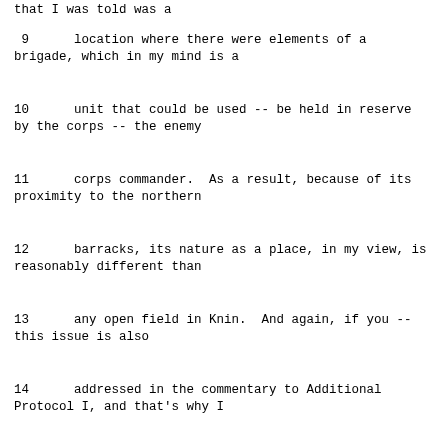that I was told was a
9      location where there were elements of a brigade, which in my mind is a
10      unit that could be used -- be held in reserve by the corps -- the enemy
11      corps commander.  As a result, because of its proximity to the northern
12      barracks, its nature as a place, in my view, is reasonably different than
13      any open field in Knin.  And again, if you -- this issue is also
14      addressed in the commentary to Additional Protocol I, and that's why I